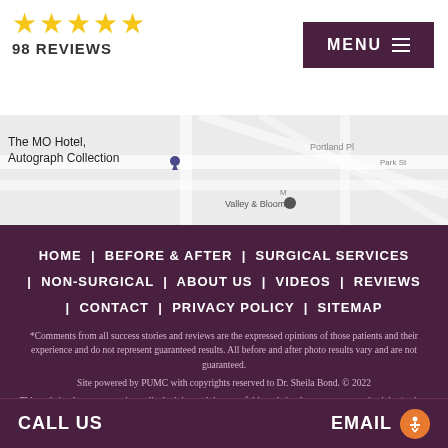[Figure (other): Five gold stars rating with '98 REVIEWS' text below]
[Figure (other): MENU button with hamburger lines on dark purple background]
[Figure (map): Google Maps snippet showing The MO Hotel Autograph Collection and Valley & Bloom locations]
HOME | BEFORE & AFTER | SURGICAL SERVICES | NON-SURGICAL | ABOUT US | VIDEOS | REVIEWS | CONTACT | PRIVACY POLICY | SITEMAP
*Comments from all success stories and reviews are the expressed opinions of those patients and their experience and do not represent guaranteed results. All before and after photo results vary and are not guaranteed.
Site powered by PUMC with copyrights reserved to Dr. Sheila Bond. © 2022
This website does not contain medical advice and the use of this website does not create a physician/patient relationship between you and Dr. Sheila Bond or Body and Face Cosmetic & Plastic Specialists NJ. The photographs of models displayed on the headings and borders of this web site are for decorative purposes only. See before & after photos of Dr. Sheila Bond's patients for possible results.
CALL US
EMAIL